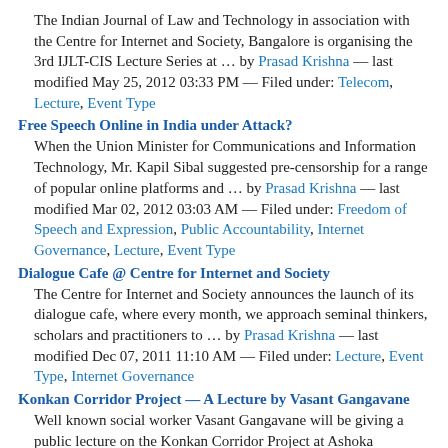The Indian Journal of Law and Technology in association with the Centre for Internet and Society, Bangalore is organising the 3rd IJLT-CIS Lecture Series at … by Prasad Krishna — last modified May 25, 2012 03:33 PM — Filed under: Telecom, Lecture, Event Type
Free Speech Online in India under Attack?
When the Union Minister for Communications and Information Technology, Mr. Kapil Sibal suggested pre-censorship for a range of popular online platforms and … by Prasad Krishna — last modified Mar 02, 2012 03:03 AM — Filed under: Freedom of Speech and Expression, Public Accountability, Internet Governance, Lecture, Event Type
Dialogue Cafe @ Centre for Internet and Society
The Centre for Internet and Society announces the launch of its dialogue cafe, where every month, we approach seminal thinkers, scholars and practitioners to … by Prasad Krishna — last modified Dec 07, 2011 11:10 AM — Filed under: Lecture, Event Type, Internet Governance
Konkan Corridor Project — A Lecture by Vasant Gangavane
Well known social worker Vasant Gangavane will be giving a public lecture on the Konkan Corridor Project at Ashoka Innovators for the Public in Bangalore on … by Prasad